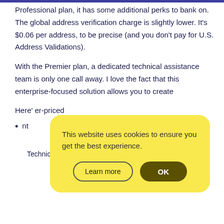Professional plan, it has some additional perks to bank on. The global address verification charge is slightly lower. It's $0.06 per address, to be precise (and you don't pay for U.S. Address Validations).
With the Premier plan, a dedicated technical assistance team is only one call away. I love the fact that this enterprise-focused solution allows you to create
Here's ... er-priced
nt
Technical implementation assistance
[Figure (screenshot): Cookie consent popup with yellow background. Text reads: 'This website uses cookies to ensure you get the best experience.' Two buttons: 'Learn more' (outlined) and 'OK' (dark yellow/olive filled).]